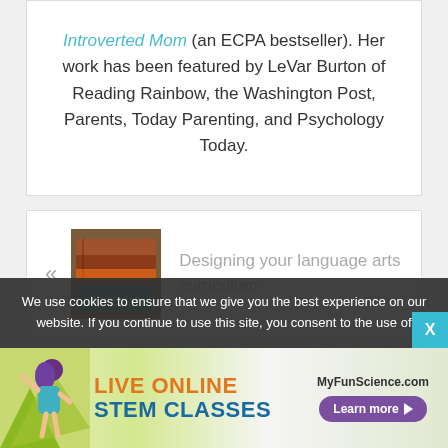Introverted Mom (an ECPA bestseller). Her work has been featured by LeVar Burton of Reading Rainbow, the Washington Post, Parents, Today Parenting, and Psychology Today.
[Figure (photo): Stack of books image used as thumbnail for language arts curriculum article]
« Designing your language arts curriculum
We use cookies to ensure that we give you the best experience on our website. If you continue to use this site, you consent to the use of
[Figure (infographic): Advertisement banner: LIVE ONLINE STEM CLASSES - MyFunScience.com - Learn more button, with illustrated girl figure on left]